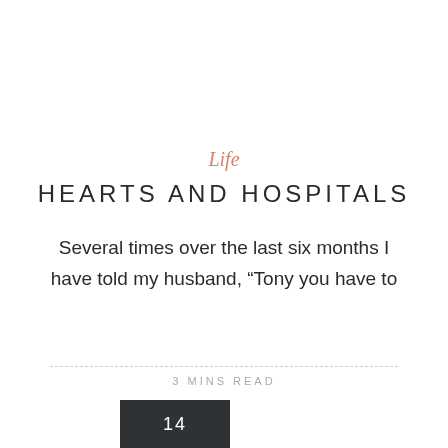Life
HEARTS AND HOSPITALS
Several times over the last six months I have told my husband, “Tony you have to
3 MINS READ
14